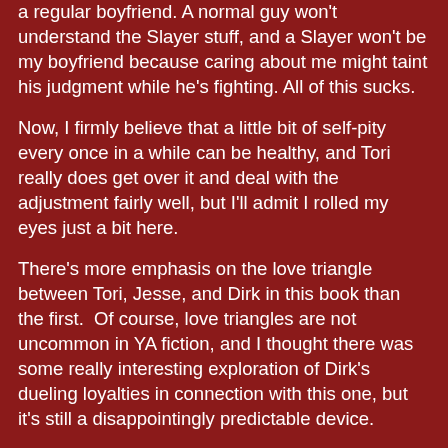a regular boyfriend. A normal guy won't understand the Slayer stuff, and a Slayer won't be my boyfriend because caring about me might taint his judgment while he's fighting. All of this sucks.
Now, I firmly believe that a little bit of self-pity every once in a while can be healthy, and Tori really does get over it and deal with the adjustment fairly well, but I'll admit I rolled my eyes just a bit here.
There's more emphasis on the love triangle between Tori, Jesse, and Dirk in this book than the first.  Of course, love triangles are not uncommon in YA fiction, and I thought there was some really interesting exploration of Dirk's dueling loyalties in connection with this one, but it's still a disappointingly predictable device.
The first book did a pretty good job with character development and drawing the relationships between the Slayers.  This book felt more action-driven and I thought the characterizations suffered a bit as a result.  The other Slayers (everyone besides Tori, Jesse, and Dirk) were